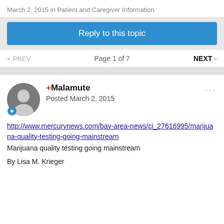March 2, 2015 in Patient and Caregiver Information
Reply to this topic
« PREV   Page 1 of 7   NEXT »
+Malamute
Posted March 2, 2015
http://www.mercurynews.com/bay-area-news/ci_27616995/marijuana-quality-testing-going-mainstream
Marijuana quality testing going mainstream

By Lisa M. Krieger